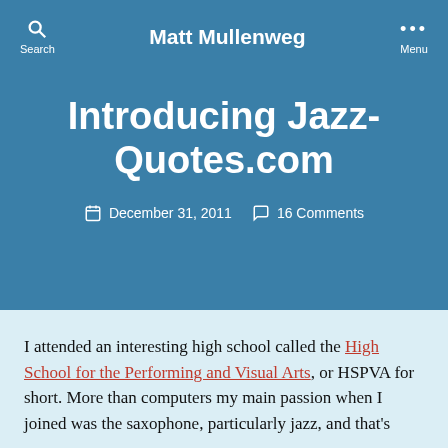Matt Mullenweg
Introducing Jazz-Quotes.com
December 31, 2011   16 Comments
I attended an interesting high school called the High School for the Performing and Visual Arts, or HSPVA for short. More than computers my main passion when I joined was the saxophone, particularly jazz, and that's what I studied for 4 years and continue to do to this day.